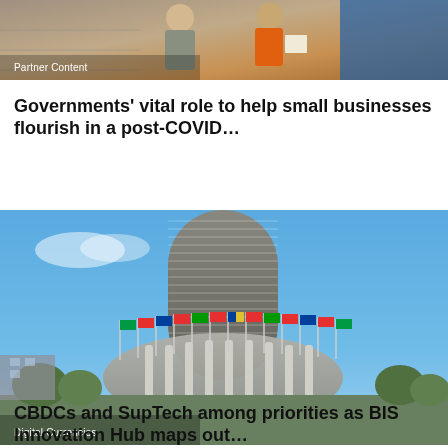[Figure (photo): Workers in a workplace setting, one wearing an orange vest, appearing to review documents]
Partner Content
Governments' vital role to help small businesses flourish in a post-COVID…
[Figure (photo): BIS (Bank for International Settlements) headquarters building, a distinctive cylindrical tower with international flags displayed around its base, under a blue sky]
Digital Currencies
CBDCs and SupTech among priorities as BIS Innovation Hub maps out…